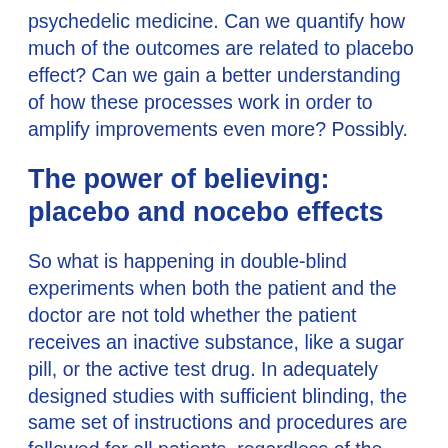psychedelic medicine. Can we quantify how much of the outcomes are related to placebo effect? Can we gain a better understanding of how these processes work in order to amplify improvements even more? Possibly.
The power of believing: placebo and nocebo effects
So what is happening in double-blind experiments when both the patient and the doctor are not told whether the patient receives an inactive substance, like a sugar pill, or the active test drug. In adequately designed studies with sufficient blinding, the same set of instructions and procedures are followed for all patients, regardless of the group assignment (placebo